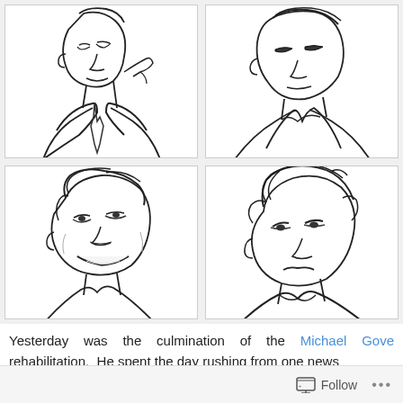[Figure (illustration): Four-panel grid of hand-drawn sketch illustrations showing two different men's faces/heads. Top-left: man in suit looking down/aside. Top-right: man with short hair looking forward with collar visible. Bottom-left: man with side-swept hair smiling broadly. Bottom-right: man with mussed hair looking concerned or uncertain.]
Yesterday was the culmination of the Michael Gove rehabilitation.  He spent the day rushing from one news
Follow ...